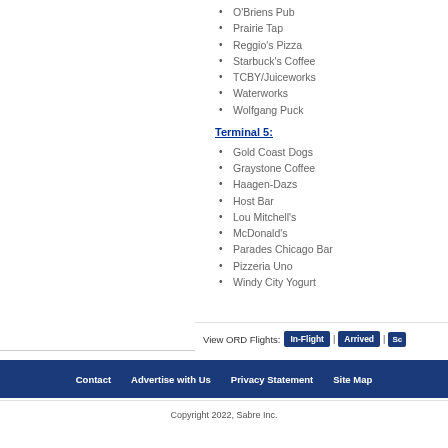O'Briens Pub
Prairie Tap
Reggio's Pizza
Starbuck's Coffee
TCBY/Juiceworks
Waterworks
Wolfgang Puck
Terminal 5:
Gold Coast Dogs
Graystone Coffee
Haagen-Dazs
Host Bar
Lou Mitchell's
McDonald's
Parades Chicago Bar
Pizzeria Uno
Windy City Yogurt
View ORD Flights: In-Flight | Arrived | Sc...
Contact   Advertise with Us   Privacy Statement   Site Map
Copyright 2022, Sabre Inc.